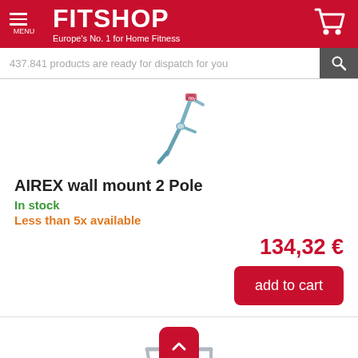FITSHOP — Europe's No. 1 for Home Fitness
437.841 products are ready for dispatch for you
[Figure (photo): AIREX wall mount 2 Pole product photo showing a metal wall mounting bracket with two poles]
AIREX wall mount 2 Pole
In stock
Less than 5x available
134,32 €
add to cart
[Figure (photo): Partial product image of another AIREX product (bottom of page)]